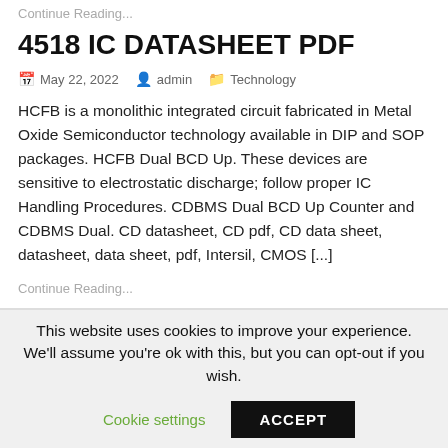Continue Reading...
4518 IC DATASHEET PDF
May 22, 2022   admin   Technology
HCFB is a monolithic integrated circuit fabricated in Metal Oxide Semiconductor technology available in DIP and SOP packages. HCFB Dual BCD Up. These devices are sensitive to electrostatic discharge; follow proper IC Handling Procedures. CDBMS Dual BCD Up Counter and CDBMS Dual. CD datasheet, CD pdf, CD data sheet, datasheet, data sheet, pdf, Intersil, CMOS [...]
Continue Reading...
This website uses cookies to improve your experience. We'll assume you're ok with this, but you can opt-out if you wish.
Cookie settings
ACCEPT